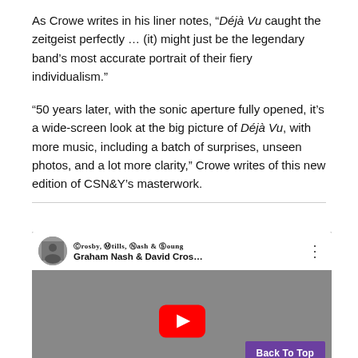As Crowe writes in his liner notes, “Déjà Vu caught the zeitgeist perfectly … (it) might just be the legendary band’s most accurate portrait of their fiery individualism.”
“50 years later, with the sonic aperture fully opened, it’s a wide-screen look at the big picture of Déjà Vu, with more music, including a batch of surprises, unseen photos, and a lot more clarity,” Crowe writes of this new edition of CSN&Y’s masterwork.
[Figure (screenshot): YouTube video embed showing Graham Nash & David Cros... with Crosby, Stills, Nash & Young album art thumbnail and a red play button over a black-and-white photo of a long-haired person. A purple 'Back To Top' button is in the bottom-right corner.]